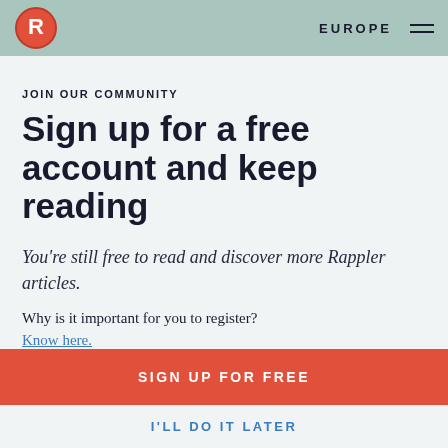EUROPE
JOIN OUR COMMUNITY
Sign up for a free account and keep reading
You're still free to read and discover more Rappler articles.
Why is it important for you to register?
Know here.
SIGN UP FOR FREE
I'LL DO IT LATER